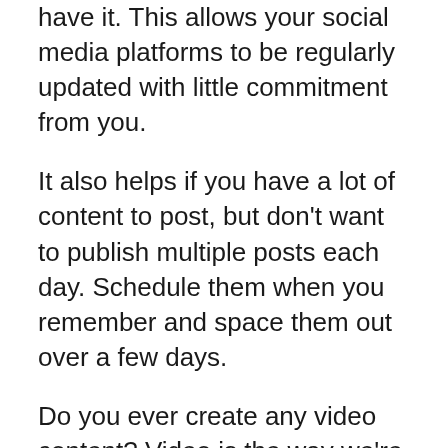have it. This allows your social media platforms to be regularly updated with little commitment from you.
It also helps if you have a lot of content to post, but don't want to publish multiple posts each day. Schedule them when you remember and space them out over a few days.
Do you ever create any video content? Video is the way we're moving, with people wanting to watch video instead of reading. Just look at the popularity of TikTok and the Instagram Stories and Reels.
Microsoft Stream is a great way to utilize video to help you connect and engage with